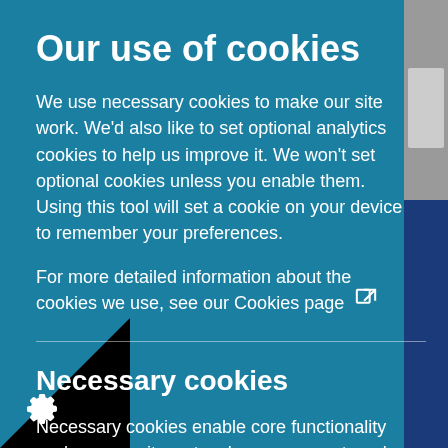Our use of cookies
We use necessary cookies to make our site work. We'd also like to set optional analytics cookies to help us improve it. We won't set optional cookies unless you enable them. Using this tool will set a cookie on your device to remember your preferences.
For more detailed information about the cookies we use, see our Cookies page ⧉
Necessary cookies
Necessary cookies enable core functionality such as security, network management, and accessibility. You may disable these by changing your browser settings, but this may affect how the site functions.